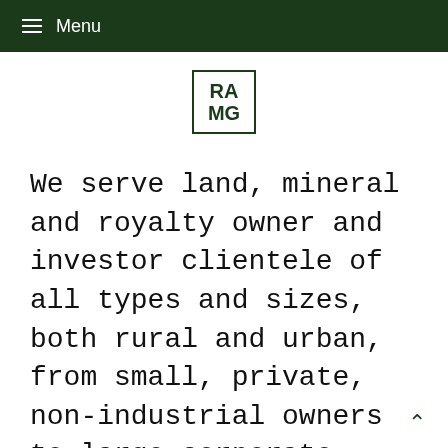≡ Menu
[Figure (logo): RAMG logo — letters RA MG in a bordered box]
We serve land, mineral and royalty owner and investor clientele of all types and sizes, both rural and urban, from small, private, non-industrial owners to large corporate, industrial and investment entities and state and local governments.